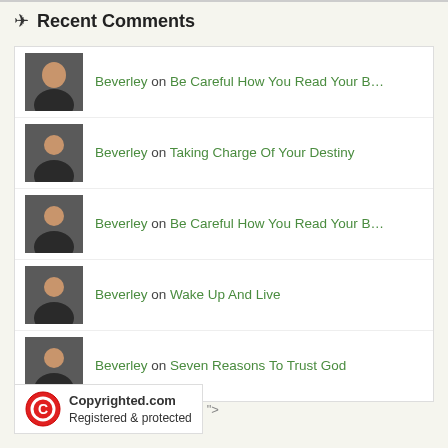Recent Comments
Beverley on Be Careful How You Read Your B...
Beverley on Taking Charge Of Your Destiny
Beverley on Be Careful How You Read Your B...
Beverley on Wake Up And Live
Beverley on Seven Reasons To Trust God
[Figure (logo): Copyrighted.com Registered & protected badge with red copyright symbol]
">